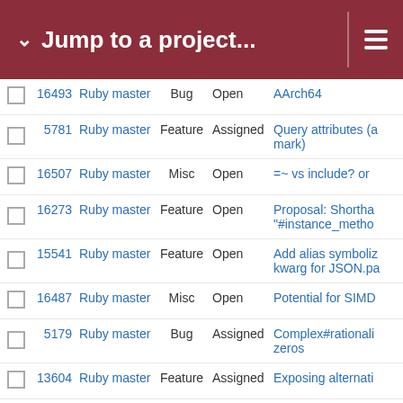Jump to a project...
|  | # | Project | Type | Status | Subject |
| --- | --- | --- | --- | --- | --- |
|  | 16493 | Ruby master | Bug | Open | AArch64 |
|  | 5781 | Ruby master | Feature | Assigned | Query attributes (a mark) |
|  | 16507 | Ruby master | Misc | Open | =~ vs include? or |
|  | 16273 | Ruby master | Feature | Open | Proposal: Shortha "#instance_metho |
|  | 15541 | Ruby master | Feature | Open | Add alias symboliz kwarg for JSON.pa |
|  | 16487 | Ruby master | Misc | Open | Potential for SIMD |
|  | 5179 | Ruby master | Bug | Assigned | Complex#rationali zeros |
|  | 13604 | Ruby master | Feature | Assigned | Exposing alternati |
|  | 16517 | Ruby master | Feature | Open | mkmf.rb - changes |
|  | 16563 | Ruby master | Feature | Open | Let rb_mod_const table instead for i segregation |
|  | 16562 | Ruby master | Feature | Open | Expose rb_io_set_ function calls on l |